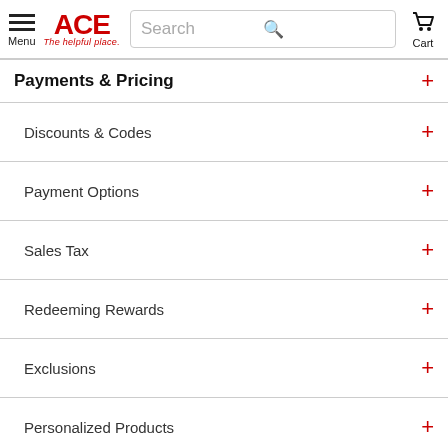ACE The helpful place. Search Cart
Payments & Pricing
Discounts & Codes
Payment Options
Sales Tax
Redeeming Rewards
Exclusions
Personalized Products
Order Information
Track Your Order
Cancellations